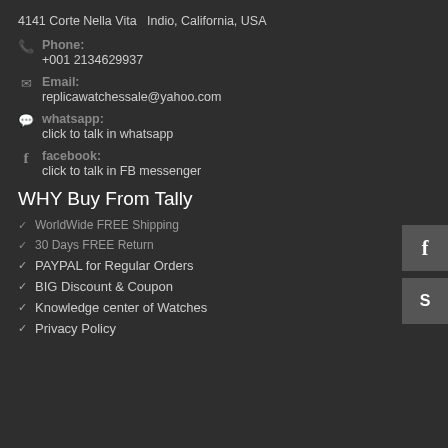4141 Corte Nella Vita  Indio, California, USA
Phone: +001 2134629937
Email: replicawatchessale@yahoo.com
whatsapp: click to talk in whatsapp
facebook: click to talk in FB messenger
WHY Buy From Tally
WorldWide FREE Shipping
30 Days FREE Return
PAYPAL for Regular Orders
BIG Discount & Coupon
Knowledge center of Watches
Privacy Policy